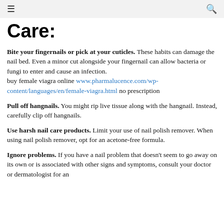≡  🔍
Care:
Bite your fingernails or pick at your cuticles. These habits can damage the nail bed. Even a minor cut alongside your fingernail can allow bacteria or fungi to enter and cause an infection. buy female viagra online www.pharmalucence.com/wp-content/languages/en/female-viagra.html no prescription
Pull off hangnails. You might rip live tissue along with the hangnail. Instead, carefully clip off hangnails.
Use harsh nail care products. Limit your use of nail polish remover. When using nail polish remover, opt for an acetone-free formula.
Ignore problems. If you have a nail problem that doesn't seem to go away on its own or is associated with other signs and symptoms, consult your doctor or dermatologist for an